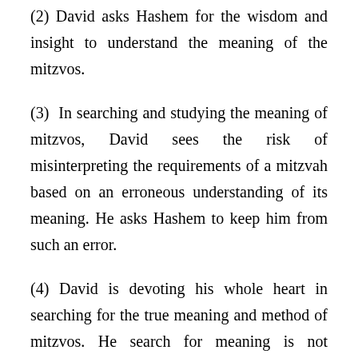(2) David asks Hashem for the wisdom and insight to understand the meaning of the mitzvos.
(3) In searching and studying the meaning of mitzvos, David sees the risk of misinterpreting the requirements of a mitzvah based on an erroneous understanding of its meaning. He asks Hashem to keep him from such an error.
(4) David is devoting his whole heart in searching for the true meaning and method of mitzvos. He search for meaning is not motivated by any other